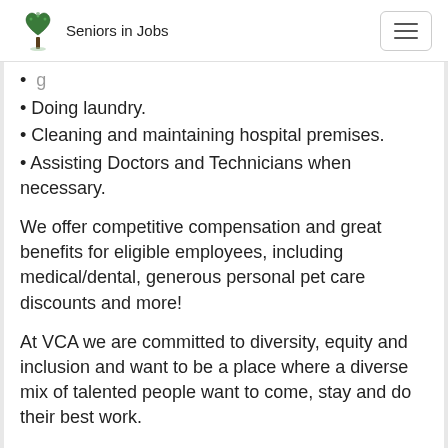Seniors in Jobs
Doing laundry.
Cleaning and maintaining hospital premises.
Assisting Doctors and Technicians when necessary.
We offer competitive compensation and great benefits for eligible employees, including medical/dental, generous personal pet care discounts and more!
At VCA we are committed to diversity, equity and inclusion and want to be a place where a diverse mix of talented people want to come, stay and do their best work.